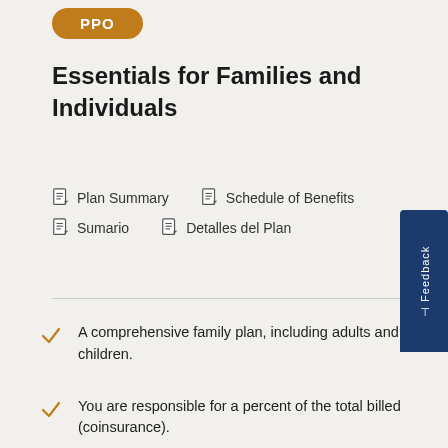PPO
Essentials for Families and Individuals
Plan Summary
Schedule of Benefits
Sumario
Detalles del Plan
A comprehensive family plan, including adults and children.
You are responsible for a percent of the total billed (coinsurance).